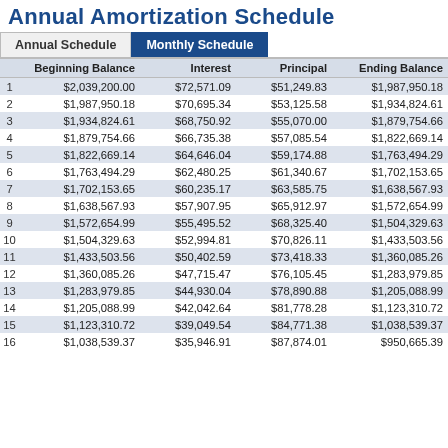Annual Amortization Schedule
|  | Beginning Balance | Interest | Principal | Ending Balance |
| --- | --- | --- | --- | --- |
| 1 | $2,039,200.00 | $72,571.09 | $51,249.83 | $1,987,950.18 |
| 2 | $1,987,950.18 | $70,695.34 | $53,125.58 | $1,934,824.61 |
| 3 | $1,934,824.61 | $68,750.92 | $55,070.00 | $1,879,754.66 |
| 4 | $1,879,754.66 | $66,735.38 | $57,085.54 | $1,822,669.14 |
| 5 | $1,822,669.14 | $64,646.04 | $59,174.88 | $1,763,494.29 |
| 6 | $1,763,494.29 | $62,480.25 | $61,340.67 | $1,702,153.65 |
| 7 | $1,702,153.65 | $60,235.17 | $63,585.75 | $1,638,567.93 |
| 8 | $1,638,567.93 | $57,907.95 | $65,912.97 | $1,572,654.99 |
| 9 | $1,572,654.99 | $55,495.52 | $68,325.40 | $1,504,329.63 |
| 10 | $1,504,329.63 | $52,994.81 | $70,826.11 | $1,433,503.56 |
| 11 | $1,433,503.56 | $50,402.59 | $73,418.33 | $1,360,085.26 |
| 12 | $1,360,085.26 | $47,715.47 | $76,105.45 | $1,283,979.85 |
| 13 | $1,283,979.85 | $44,930.04 | $78,890.88 | $1,205,088.99 |
| 14 | $1,205,088.99 | $42,042.64 | $81,778.28 | $1,123,310.72 |
| 15 | $1,123,310.72 | $39,049.54 | $84,771.38 | $1,038,539.37 |
| 16 | $1,038,539.37 | $35,946.91 | $87,874.01 | $950,665.39 |